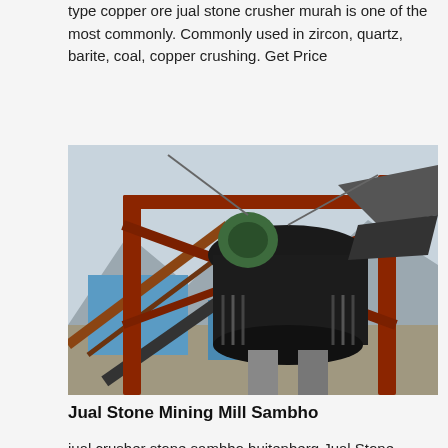type copper ore jual stone crusher murah is one of the most commonly. Commonly used in zircon, quartz, barite, coal, copper crushing. Get Price
[Figure (photo): Photograph of a large industrial stone crusher / mining mill machine installed on a construction site outdoors, with a conveyor belt, red steel frame structure, springs, and mountain/sky background.]
Jual Stone Mining Mill Sambho
jual crusher stone sambho buitenberg Jual Stone Crusher Sambho, stone crusher sambo Grinding Mill China Sanbo